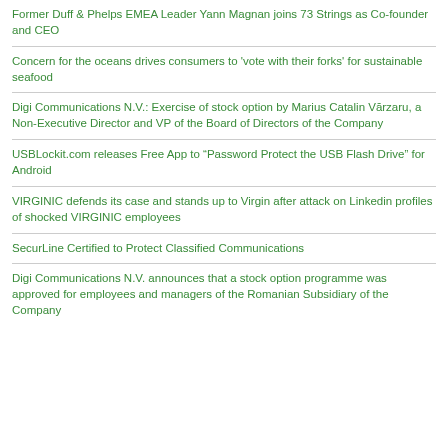Former Duff & Phelps EMEA Leader Yann Magnan joins 73 Strings as Co-founder and CEO
Concern for the oceans drives consumers to 'vote with their forks' for sustainable seafood
Digi Communications N.V.: Exercise of stock option by Marius Catalin Vărzaru, a Non-Executive Director and VP of the Board of Directors of the Company
USBLockit.com releases Free App to “Password Protect the USB Flash Drive” for Android
VIRGINIC defends its case and stands up to Virgin after attack on Linkedin profiles of shocked VIRGINIC employees
SecurLine Certified to Protect Classified Communications
Digi Communications N.V. announces that a stock option programme was approved for employees and managers of the Romanian Subsidiary of the Company